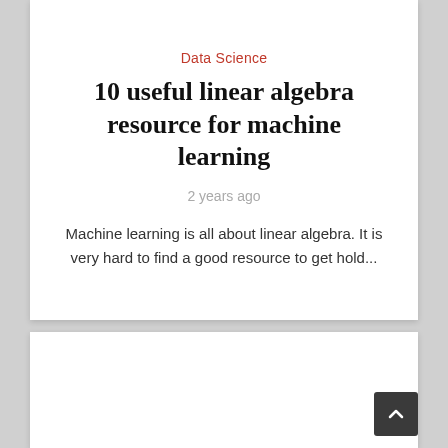Data Science
10 useful linear algebra resource for machine learning
2 years ago
Machine learning is all about linear algebra. It is very hard to find a good resource to get hold...